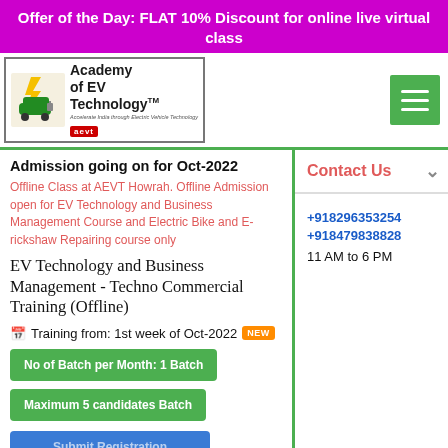Offer of the Day: FLAT 10% Discount for online live virtual class
[Figure (logo): Academy of EV Technology (AEVT) logo with electric vehicle icon and green hamburger menu button]
Admission going on for Oct-2022
Offline Class at AEVT Howrah. Offline Admission open for EV Technology and Business Management Course and Electric Bike and E-rickshaw Repairing course only
EV Technology and Business Management - Techno Commercial Training (Offline)
Training from: 1st week of Oct-2022 NEW
No of Batch per Month: 1 Batch
Maximum 5 candidates Batch
Submit Registration
Become Training Partner
Contact Us
+918296353254
+918479838828
11 AM to 6 PM